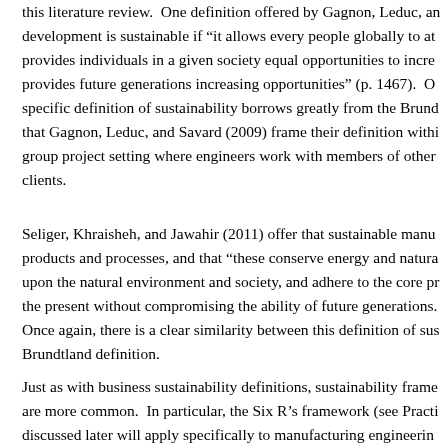this literature review.  One definition offered by Gagnon, Leduc, an development is sustainable if "it allows every people globally to at provides individuals in a given society equal opportunities to incre provides future generations increasing opportunities" (p. 1467).  O specific definition of sustainability borrows greatly from the Brund that Gagnon, Leduc, and Savard (2009) frame their definition withi group project setting where engineers work with members of other clients.
Seliger, Khraisheh, and Jawahir (2011) offer that sustainable manu products and processes, and that "these conserve energy and natura upon the natural environment and society, and adhere to the core pr the present without compromising the ability of future generations. Once again, there is a clear similarity between this definition of sus Brundtland definition.
Just as with business sustainability definitions, sustainability frame are more common.  In particular, the Six R's framework (see Practi discussed later will apply specifically to manufacturing engineerin